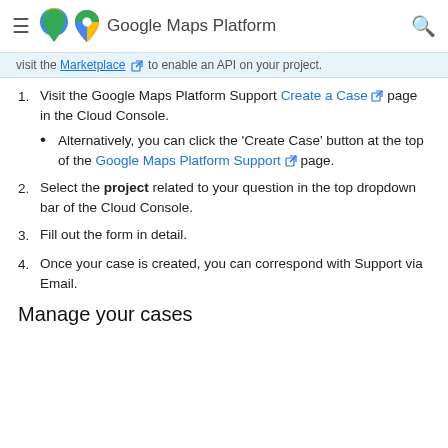Google Maps Platform
visit the Marketplace [icon] to enable an API on your project.
1. Visit the Google Maps Platform Support Create a Case [icon] page in the Cloud Console.
  • Alternatively, you can click the 'Create Case' button at the top of the Google Maps Platform Support [icon] page.
2. Select the project related to your question in the top dropdown bar of the Cloud Console.
3. Fill out the form in detail.
4. Once your case is created, you can correspond with Support via Email.
Manage your cases